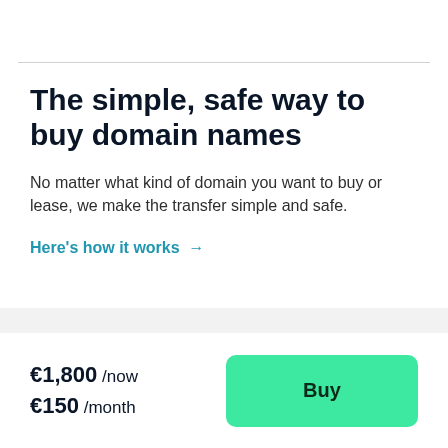The simple, safe way to buy domain names
No matter what kind of domain you want to buy or lease, we make the transfer simple and safe.
Here's how it works →
€1,800 /now €150 /month
Buy